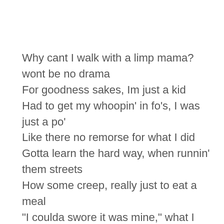Why cant I walk with a limp mama? wont be no drama
For goodness sakes, Im just a kid
Had to get my whoopin' in fo's, I was just a po'
Like there no remorse for what I did
Gotta learn the hard way, when runnin' them streets
How some creep, really just to eat a meal
"I coulda swore it was mine," what I used to tell the po-po
When I loved to rob and steal
Man, I gotta earn for a livin', aint nobody givin' me nothin'